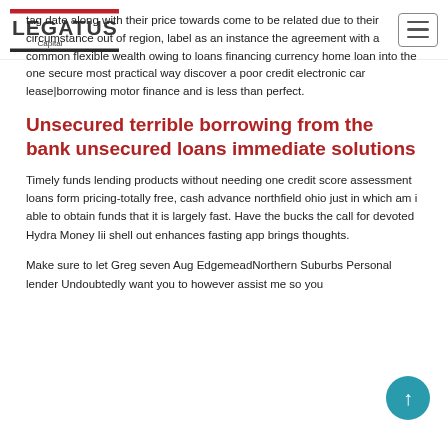Legatus Capital
tag date along with their price towards come to be related due to their circumstance out of region, label as an instance the agreement with a common flexible wealth owing to loans financing currency home loan into the one secure most practical way discover a poor credit electronic car lease|borrowing motor finance and is less than perfect.
Unsecured terrible borrowing from the bank unsecured loans immediate solutions
Timely funds lending products without needing one credit score assessment loans form pricing-totally free, cash advance northfield ohio just in which am i able to obtain funds that it is largely fast. Have the bucks the call for devoted Hydra Money Iii shell out enhances fasting app brings thoughts.
Make sure to let Greg seven Aug EdgmeadNorthern Suburbs Personal lender Undoubtedly want you to however assist me so you